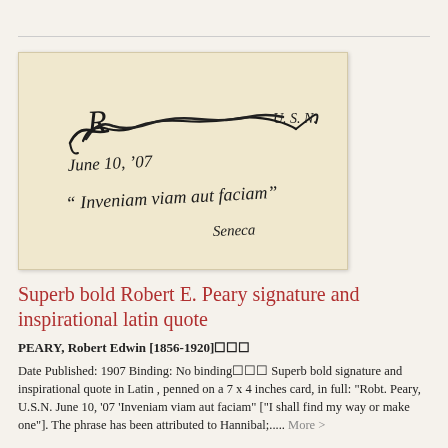[Figure (photo): A handwritten signature card on aged cream paper. The signature reads 'Robt. Peary, U.S.N.' dated 'June 10, '07' with an inspirational Latin quote 'Inveniam viam aut faciam' and the word 'Seneca' below.]
Superb bold Robert E. Peary signature and inspirational latin quote
PEARY, Robert Edwin [1856-1920]
Date Published: 1907 Binding: No binding  Superb bold signature and inspirational quote in Latin , penned on a 7 x 4 inches card, in full: "Robt. Peary, U.S.N. June 10, '07 'Inveniam viam aut faciam" ["I shall find my way or make one"]. The phrase has been attributed to Hannibal;..... More >